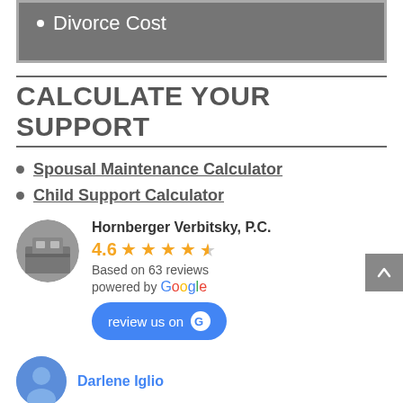Divorce Cost
CALCULATE YOUR SUPPORT
Spousal Maintenance Calculator
Child Support Calculator
[Figure (infographic): Google review widget showing Hornberger Verbitsky P.C. with 4.6 stars based on 63 reviews, powered by Google, with a review us on Google button, and a reviewer named Darlene Iglio]
Hornberger Verbitsky, P.C.
4.6 ★★★★☆
Based on 63 reviews
powered by Google
review us on Google
Darlene Iglio